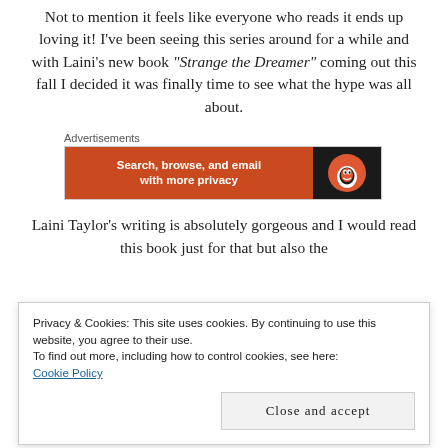Not to mention it feels like everyone who reads it ends up loving it! I've been seeing this series around for a while and with Laini's new book “Strange the Dreamer” coming out this fall I decided it was finally time to see what the hype was all about.
[Figure (screenshot): Advertisement banner with orange background showing DuckDuckGo ad: 'Search, browse, and email with more privacy']
Laini Taylor’s writing is absolutely gorgeous and I would read this book just for that but also the
Privacy & Cookies: This site uses cookies. By continuing to use this website, you agree to their use. To find out more, including how to control cookies, see here: Cookie Policy
Close and accept
Fleur in... (The Fleur in... Files #1) by Lea Hei...